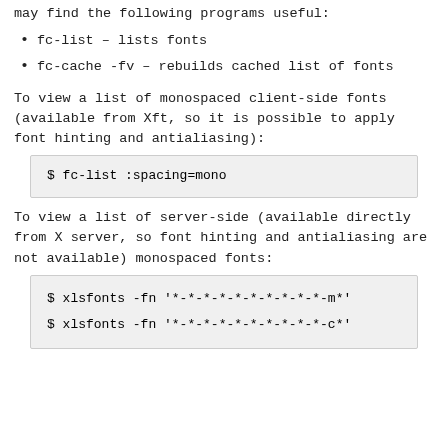may find the following programs useful:
fc-list – lists fonts
fc-cache -fv – rebuilds cached list of fonts
To view a list of monospaced client-side fonts (available from Xft, so it is possible to apply font hinting and antialiasing):
$ fc-list :spacing=mono
To view a list of server-side (available directly from X server, so font hinting and antialiasing are not available) monospaced fonts:
$ xlsfonts -fn '*-*-*-*-*-*-*-*-*-*-m*'
$ xlsfonts -fn '*-*-*-*-*-*-*-*-*-*-c*'